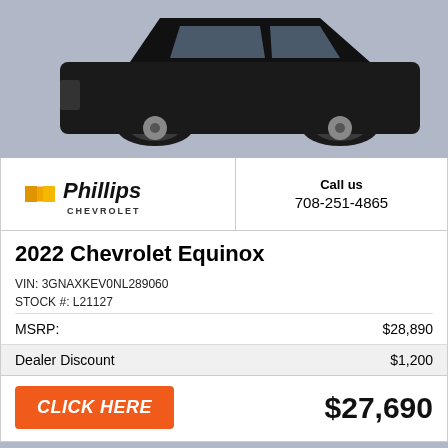[Figure (photo): Black Chevrolet Equinox SUV on gray background, partial view]
[Figure (logo): Phillips Chevrolet dealer logo with gold bowtie emblem]
Call us
708-251-4865
2022 Chevrolet Equinox
VIN: 3GNAXKEV0NL289060
STOCK #: L21127
|  |  |
| --- | --- |
| MSRP: | $28,890 |
| Dealer Discount | $1,200 |
CLICK HERE
$27,690
[Figure (photo): Gray background partial image of next car listing]
Top